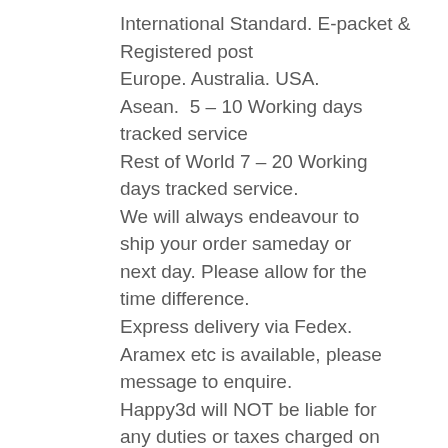International Standard. E-packet & Registered post Europe. Australia. USA. Asean.  5 – 10 Working days tracked service Rest of World 7 – 20 Working days tracked service. We will always endeavour to ship your order sameday or next day. Please allow for the time difference. Express delivery via Fedex. Aramex etc is available, please message to enquire. Happy3d will NOT be liable for any duties or taxes charged on shipped orders.